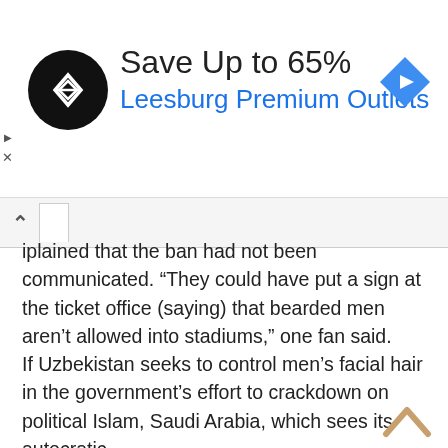[Figure (infographic): Advertisement banner: circular black logo with two overlapping diamond arrows (infinity-style), text 'Save Up to 65%' in dark gray, 'Leesburg Premium Outlets' in blue, blue diamond navigation arrow icon on right. Small play/close controls on left edge.]
iplained that the ban had not been communicated. “They could have put a sign at the ticket office (saying) that bearded men aren’t allowed into stadiums,” one fan said.
If Uzbekistan seeks to control men’s facial hair in the government’s effort to crackdown on political Islam, Saudi Arabia, which sees its autocratic monarchical rule as the only legitimate form of Islamic government, has sought to stop young men from adopting hairdos involving shaved parts of one’s hair in a style popular among youths across the globe.
Al Shabab FC goalkeeper Waleed Abdullah became